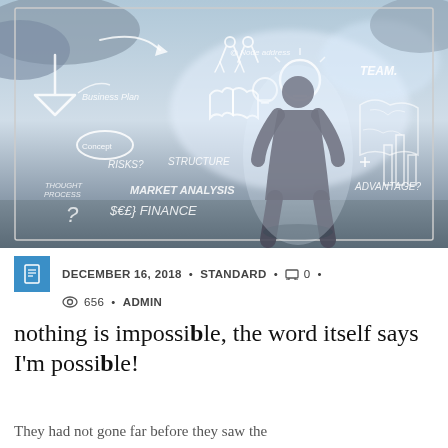[Figure (illustration): A man in a suit viewed from behind stands before a large chalkboard-style wall covered with business concept sketches: arrows, lightbulbs, puzzle pieces, figures shaking hands, world map, text labels including BUSINESS PLAN, CONCEPT, RISKS?, STRUCTURE, THOUGHT PROCESS, MARKET ANALYSIS, FINANCE, TEAM, ADVANTAGE? and various symbols.]
DECEMBER 16, 2018 • STANDARD • 0 • 656 • ADMIN
nothing is impossible, the word itself says I'm possible!
They had not gone far before they saw the